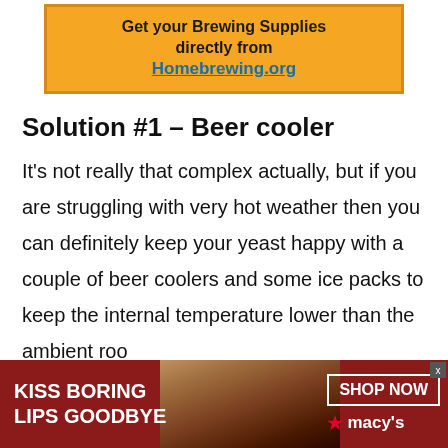[Figure (infographic): Orange advertisement banner with border: 'Get your Brewing Supplies directly from Homebrewing.org']
Solution #1 – Beer cooler
It's not really that complex actually, but if you are struggling with very hot weather then you can definitely keep your yeast happy with a couple of beer coolers and some ice packs to keep the internal temperature lower than the ambient roo…
[Figure (infographic): Red Macy's advertisement banner at bottom with text 'KISS BORING LIPS GOODBYE', a photo of a woman with red lipstick, and 'SHOP NOW' button with Macy's star logo]